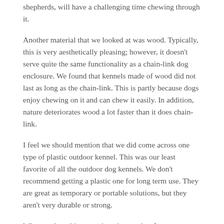shepherds, will have a challenging time chewing through it.
Another material that we looked at was wood. Typically, this is very aesthetically pleasing; however, it doesn't serve quite the same functionality as a chain-link dog enclosure. We found that kennels made of wood did not last as long as the chain-link. This is partly because dogs enjoy chewing on it and can chew it easily. In addition, nature deteriorates wood a lot faster than it does chain-link.
I feel we should mention that we did come across one type of plastic outdoor kennel. This was our least favorite of all the outdoor dog kennels. We don't recommend getting a plastic one for long term use. They are great as temporary or portable solutions, but they aren't very durable or strong.
When we buy things, we buy them to last for many